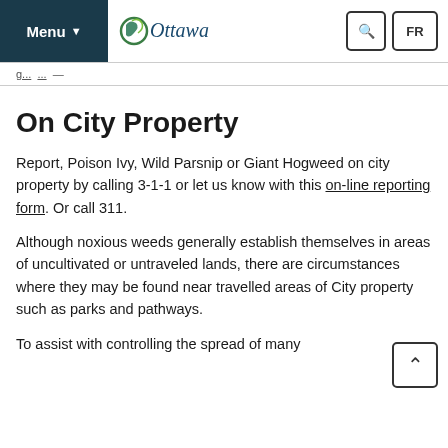Menu | Ottawa | Search | FR
On City Property
Report, Poison Ivy, Wild Parsnip or Giant Hogweed on city property by calling 3-1-1 or let us know with this on-line reporting form. Or call 311.
Although noxious weeds generally establish themselves in areas of uncultivated or untraveled lands, there are circumstances where they may be found near travelled areas of City property such as parks and pathways.
To assist with controlling the spread of many